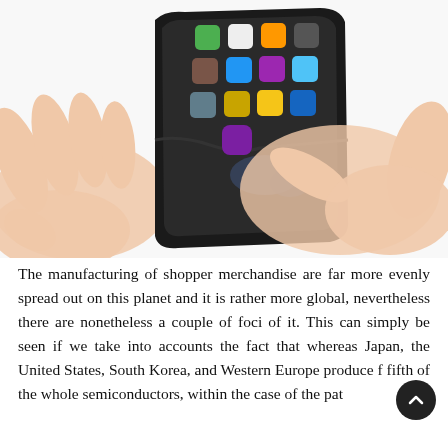[Figure (photo): A futuristic flexible smartphone with a curved/folded screen displaying app icons, held by two hands that appear to be interacting with the touchscreen. The device bends dramatically as a finger touches it.]
The manufacturing of shopper merchandise are far more evenly spread out on this planet and it is rather more global, nevertheless there are nonetheless a couple of foci of it. This can simply be seen if we take into accounts the fact that whereas Japan, the United States, South Korea, and Western Europe produce far fifth of the whole semiconductors, within the case of the path